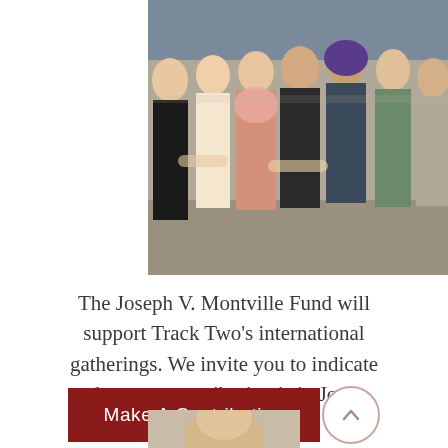[Figure (photo): Group photo of several women, some wearing headscarves, posing together outdoors]
The Joseph V. Montville Fund will support Track Two's international gatherings. We invite you to indicate that your contribution is in Joe's memory.
[Figure (other): Dark red button labeled 'Make A Contribution' with an up-arrow circle button to the right]
[Figure (photo): Partial photo of a person at the bottom of the page]